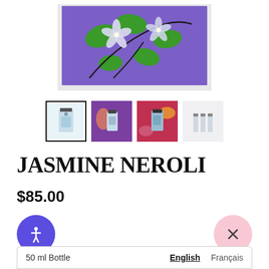[Figure (photo): Framed artwork showing white jasmine flowers with green leaves on a purple background, partially cropped at top]
[Figure (photo): Four product thumbnail images: first selected showing perfume bottle with border, second showing bottle on purple background, third showing bottle with flowers, fourth showing two small sample vials]
JASMINE NEROLI
$85.00
[Figure (other): Blue circular accessibility button with wheelchair/person icon]
[Figure (other): Pink circular close button with X]
50 ml Bottle
English  Français